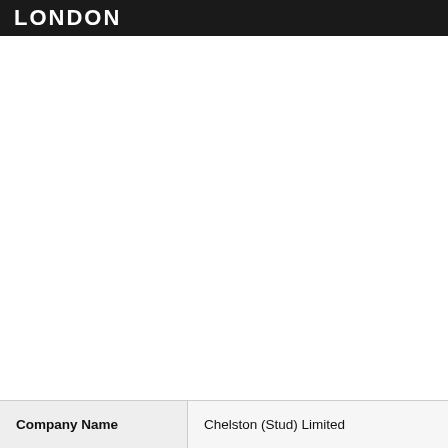LONDON
| Company Name |  |
| --- | --- |
| Company Name | Chelston (Stud) Limited |